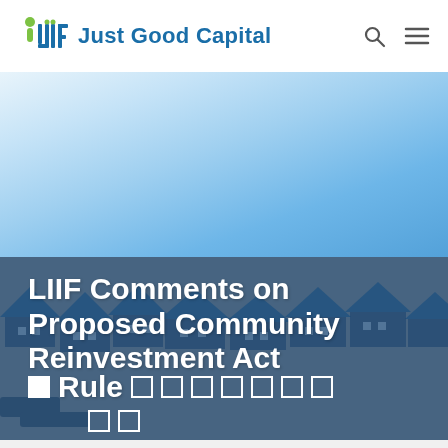LIIF Just Good Capital
[Figure (photo): Aerial view of residential neighborhood with blue sky, overlaid with blue tint. Hero image for LIIF website page about CRA comments.]
LIIF Comments on Proposed Community Reinvestment Act Rule